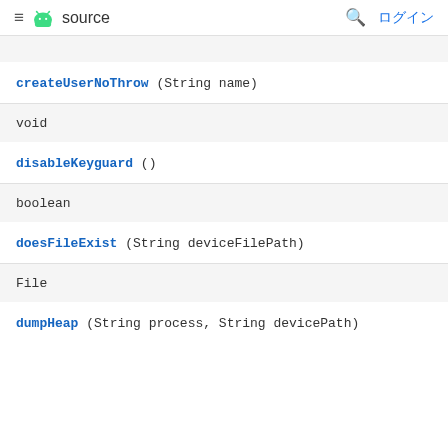≡ 🤖 source  🔍 ログイン
createUserNoThrow (String name)
void
disableKeyguard ()
boolean
doesFileExist (String deviceFilePath)
File
dumpHeap (String process, String devicePath)